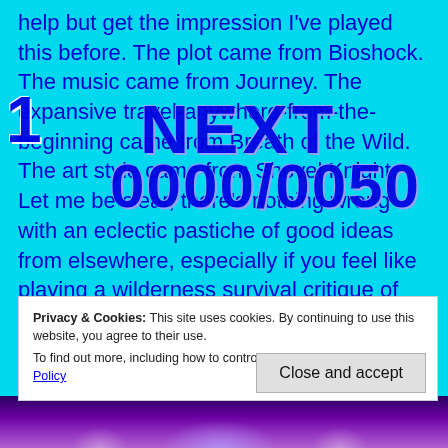help but get the impression I've played this before. The plot came from Bioshock. The music came from Journey. The expansive travel-anywhere-from-the-beginning came from Breath of the Wild. The art style came from Shovel Knight. Let me be clear, there's nothing wrong with an eclectic pastiche of good ideas from elsewhere, especially if you feel like playing a wilderness survival critique of Ayn Rand with mythological overtones and absolutely no checkpoints, but I feel like I could have played all those other games back-to-back instead and saved a little time.
[Figure (screenshot): Overlaid game UI elements showing a number '1', the word 'NEXT', and a score '0000/0050' in large bold blue text over the cyan background]
Privacy & Cookies: This site uses cookies. By continuing to use this website, you agree to their use.
To find out more, including how to control cookies, see here: Cookie Policy
Close and accept
[Figure (photo): Bottom strip showing a purple-toned game scene with a glowing character figure]